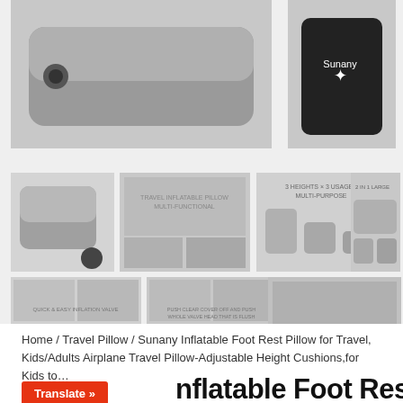[Figure (photo): Product image gallery showing inflatable foot rest pillow from multiple angles and use cases, including main product shot, usage in airplane/car, height variations, valve close-ups, and packaging.]
Home / Travel Pillow / Sunany Inflatable Foot Rest Pillow for Travel, Kids/Adults Airplane Travel Pillow-Adjustable Height Cushions,for Kids to…
nflatable Foot Rest